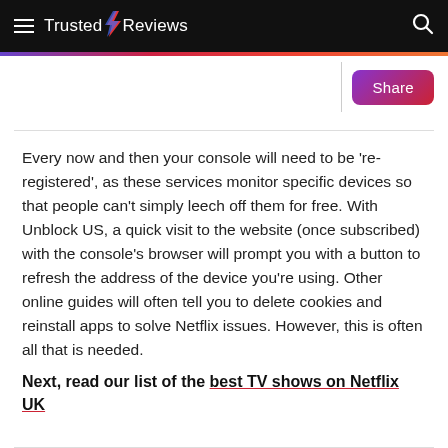Trusted Reviews
[Figure (other): Share button with gradient purple-to-red background]
Every now and then your console will need to be 're-registered', as these services monitor specific devices so that people can't simply leech off them for free. With Unblock US, a quick visit to the website (once subscribed) with the console's browser will prompt you with a button to refresh the address of the device you're using. Other online guides will often tell you to delete cookies and reinstall apps to solve Netflix issues. However, this is often all that is needed.
Next, read our list of the best TV shows on Netflix UK